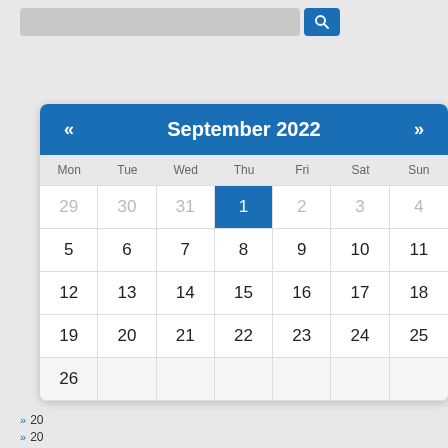[Figure (screenshot): Search bar with magnifying glass button]
| Mon | Tue | Wed | Thu | Fri | Sat | Sun |
| --- | --- | --- | --- | --- | --- | --- |
| 29 | 30 | 31 | 1 | 2 | 3 | 4 |
| 5 | 6 | 7 | 8 | 9 | 10 | 11 |
| 12 | 13 | 14 | 15 | 16 | 17 | 18 |
| 19 | 20 | 21 | 22 | 23 | 24 | 25 |
| 26 | 27 | 28 | 29 | 30 |  |  |
September 2022
Arc
20
20
This website uses cookies to ensure you get the best experience on our website.
Learn More
Accept